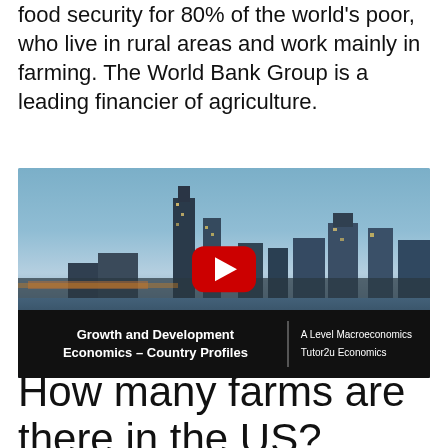food security for 80% of the world's poor, who live in rural areas and work mainly in farming. The World Bank Group is a leading financier of agriculture.
[Figure (screenshot): YouTube video thumbnail showing city skyline at dusk with a red play button overlay. Video title bar reads 'Growth and Development Economics – Country Profiles | A Level Macroeconomics | Tutor2u Economics']
How many farms are there in the US?